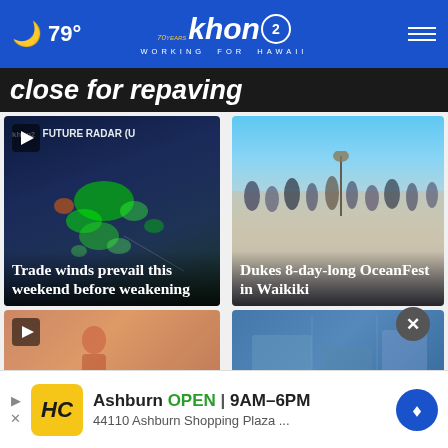79° khon2 WORKING FOR HAWAII
close for repaving
[Figure (screenshot): Weather future radar screen showing storm system over islands - Trade winds prevail this weekend before weakening]
[Figure (photo): Beach crowd at Dukes 8-day-long OceanFest in Waikiki]
[Figure (photo): Partial view of card bottom row left]
[Figure (photo): Partial view of card bottom row right]
Ashburn OPEN 9AM–6PM 44110 Ashburn Shopping Plaza ...